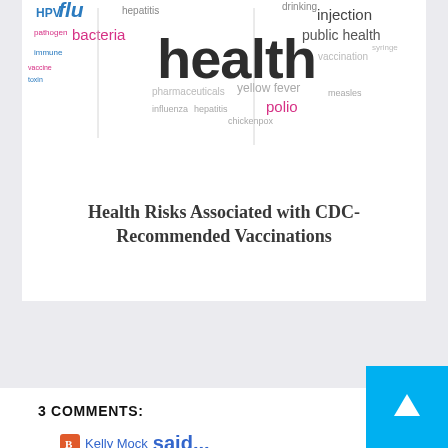[Figure (infographic): Word cloud related to health and vaccines: terms include health, flu, HPV, bacteria, injection, public health, polio, yellow fever, hepatitis, and other vaccine/disease-related words in various colors and sizes]
Health Risks Associated with CDC-Recommended Vaccinations
3 COMMENTS:
Kelly Mock said... Such a fun experience!!!! How funny that he was scared of the mixer! Su... cutie!